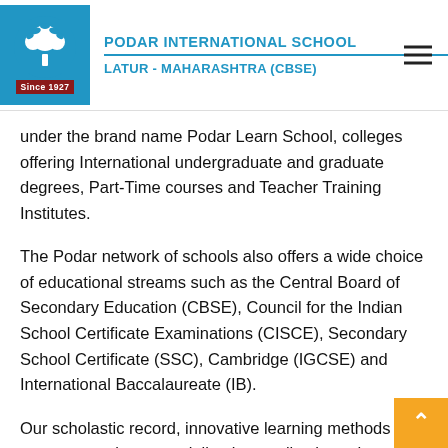PODAR INTERNATIONAL SCHOOL
LATUR - MAHARASHTRA (CBSE)
under the brand name Podar Learn School, colleges offering International undergraduate and graduate degrees, Part-Time courses and Teacher Training Institutes.
The Podar network of schools also offers a wide choice of educational streams such as the Central Board of Secondary Education (CBSE), Council for the Indian School Certificate Examinations (CISCE), Secondary School Certificate (SSC), Cambridge (IGCSE) and International Baccalaureate (IB).
Our scholastic record, innovative learning methods and strong commitment to delivering quality through integrity has helped us scale heights that few have conquered in the field of